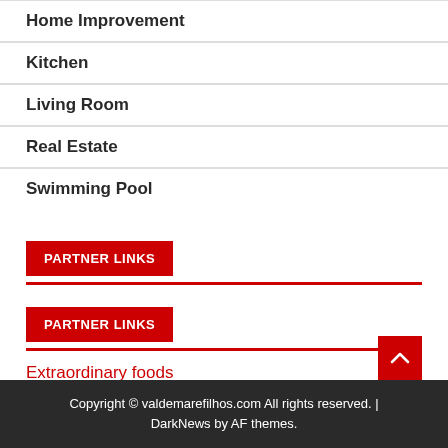Home Improvement
Kitchen
Living Room
Real Estate
Swimming Pool
PARTNER LINKS
PARTNER LINKS
Extraordinary foods
Copyright © valdemarefilhos.com All rights reserved. | DarkNews by AF themes.